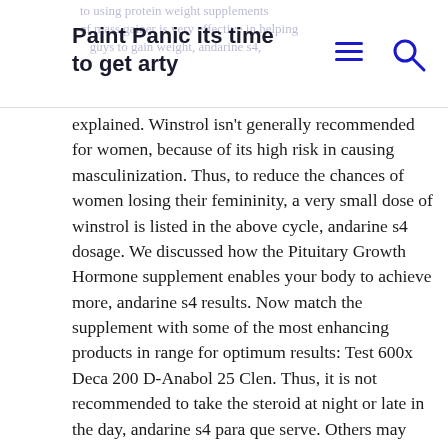Paint Panic its time to get arty
explained. Winstrol isn't generally recommended for women, because of its high risk in causing masculinization. Thus, to reduce the chances of women losing their femininity, a very small dose of winstrol is listed in the above cycle, andarine s4 dosage. We discussed how the Pituitary Growth Hormone supplement enables your body to achieve more, andarine s4 results. Now match the supplement with some of the most enhancing products in range for optimum results: Test 600x Deca 200 D-Anabol 25 Clen. Thus, it is not recommended to take the steroid at night or late in the day, andarine s4 para que serve. Others may also experience muscle cramps. Testosterone enanthate is a